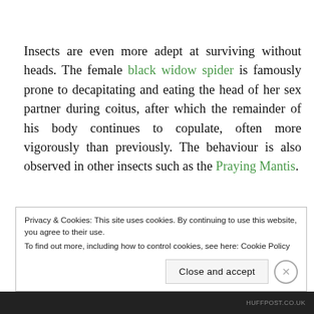Insects are even more adept at surviving without heads. The female black widow spider is famously prone to decapitating and eating the head of her sex partner during coitus, after which the remainder of his body continues to copulate, often more vigorously than previously. The behaviour is also observed in other insects such as the Praying Mantis.
Privacy & Cookies: This site uses cookies. By continuing to use this website, you agree to their use.
To find out more, including how to control cookies, see here: Cookie Policy
[Close and accept]